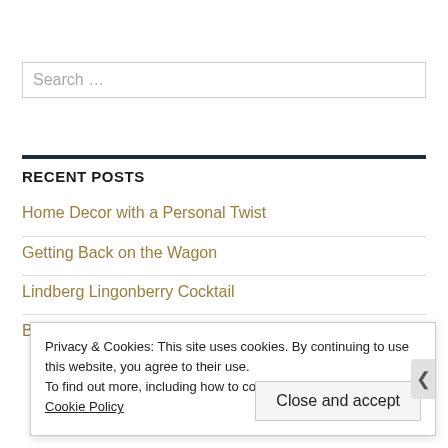Search ...
RECENT POSTS
Home Decor with a Personal Twist
Getting Back on the Wagon
Lindberg Lingonberry Cocktail
Privacy & Cookies: This site uses cookies. By continuing to use this website, you agree to their use. To find out more, including how to control cookies, see here: Cookie Policy
Close and accept